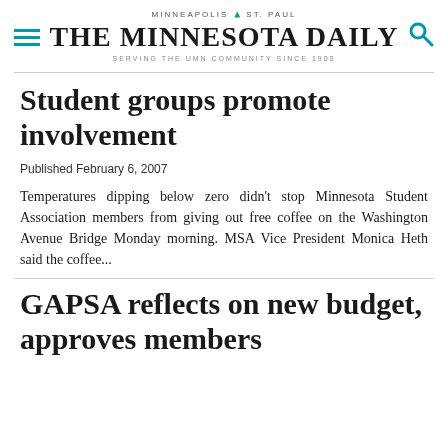MINNEAPOLIS · ST. PAUL
THE MINNESOTA DAILY
SERVING THE UMN COMMUNITY SINCE 1900
Student groups promote involvement
Published February 6, 2007
Temperatures dipping below zero didn't stop Minnesota Student Association members from giving out free coffee on the Washington Avenue Bridge Monday morning. MSA Vice President Monica Heth said the coffee...
GAPSA reflects on new budget, approves members